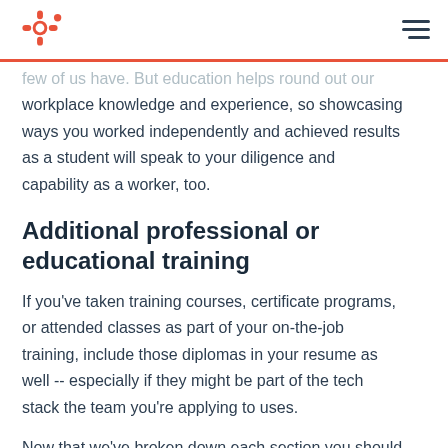HubSpot logo and navigation menu
few of us have. But education helps round out our workplace knowledge and experience, so showcasing ways you worked independently and achieved results as a student will speak to your diligence and capability as a worker, too.
Additional professional or educational training
If you've taken training courses, certificate programs, or attended classes as part of your on-the-job training, include those diplomas in your resume as well -- especially if they might be part of the tech stack the team you're applying to uses.
Now that we've broken down each section you should